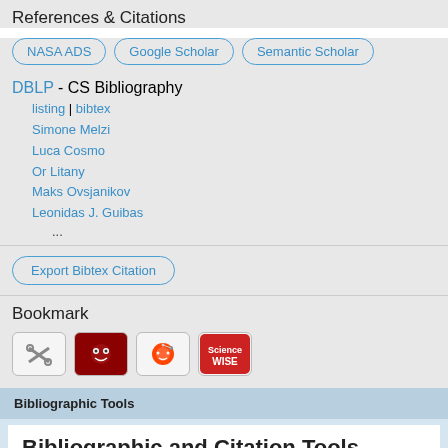References & Citations
NASA ADS | Google Scholar | Semantic Scholar
DBLP - CS Bibliography
listing | bibtex
Simone Melzi
Luca Cosmo
Or Litany
Maks Ovsjanikov
Leonidas J. Guibas
...
Export Bibtex Citation
Bookmark
[Figure (other): Four bookmark icon buttons: a tools/scissors icon, a face/Mendeley icon, a Reddit alien icon, and a ScienceWISE logo]
Bibliographic Tools
Bibliographic and Citation Tools
Bibliographic Explorer (What is the Explorer?)